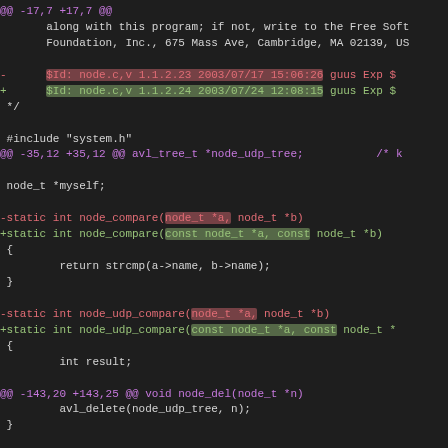@@ -17,7 +17,7 @@
    along with this program; if not, write to the Free Soft
    Foundation, Inc., 675 Mass Ave, Cambridge, MA 02139, US

-      $Id: node.c,v 1.1.2.23 2003/07/17 15:06:26 guus Exp $
+      $Id: node.c,v 1.1.2.24 2003/07/24 12:08:15 guus Exp $
 */

 #include "system.h"
@@ -35,12 +35,12 @@ avl_tree_t *node_udp_tree;           /* k

 node_t *myself;

-static int node_compare(node_t *a, node_t *b)
+static int node_compare(const node_t *a, const node_t *b)
 {
         return strcmp(a->name, b->name);
 }

-static int node_udp_compare(node_t *a, node_t *b)
+static int node_udp_compare(const node_t *a, const node_t *b)
 {
         int result;

@@ -143,20 +143,25 @@ void node_del(node_t *n)
         avl_delete(node_udp_tree, n);
 }

-node_t *lookup_node(char *name)
+node_t *lookup_node(const char *name)
 {
-        node_t n;